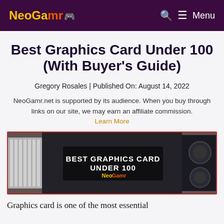NeoGamr — Menu
Best Graphics Card Under 100 (With Buyer's Guide)
Gregory Rosales | Published On: August 14, 2022
NeoGamr.net is supported by its audience. When you buy through links on our site, we may earn an affiliate commission. Learn More
[Figure (photo): Hero banner image showing multiple graphics cards laid out, with overlay text reading BEST GRAPHICS CARD UNDER 100 and NeoGamr logo]
Graphics card is one of the most essential